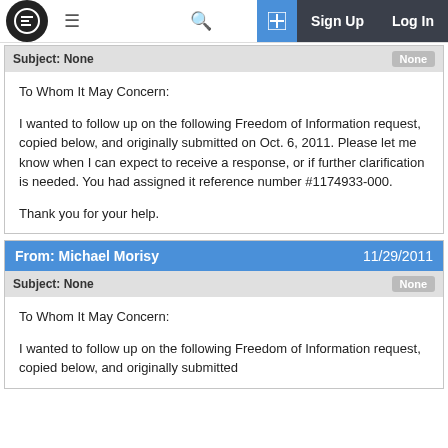Sign Up | Log In
Subject: None
To Whom It May Concern:

I wanted to follow up on the following Freedom of Information request, copied below, and originally submitted on Oct. 6, 2011. Please let me know when I can expect to receive a response, or if further clarification is needed. You had assigned it reference number #1174933-000.

Thank you for your help.
From: Michael Morisy  11/29/2011
Subject: None
To Whom It May Concern:

I wanted to follow up on the following Freedom of Information request, copied below, and originally submitted